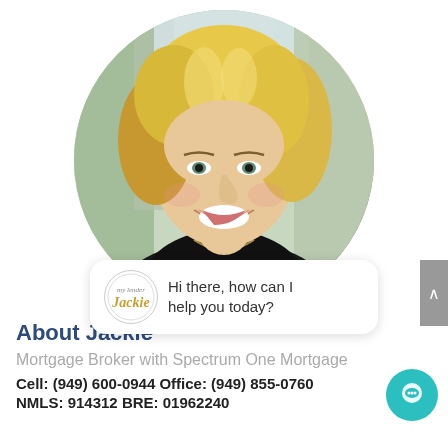[Figure (photo): Circular portrait photo of Jackie, a blonde woman smiling, wearing a black top with a necklace, outdoors background with trees]
About Jackie
Mortgage Broker with Spectrum One Mortgage
Cell: (949) 600-0944 Office: (949) 855-0760
NMLS: 914312 BRE: 01962240
[Figure (screenshot): Chat widget bubble with Jackie logo and text: Hi there, how can I help you today?]